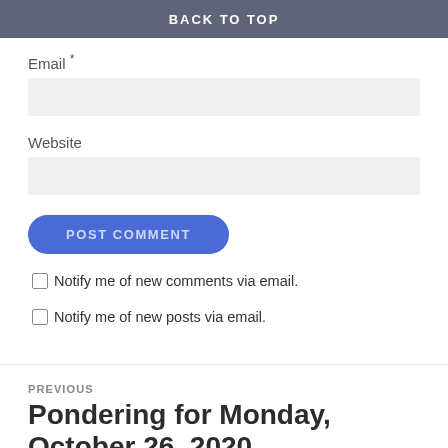BACK TO TOP
Email *
Website
POST COMMENT
Notify me of new comments via email.
Notify me of new posts via email.
PREVIOUS
Pondering for Monday, October 26, 2020